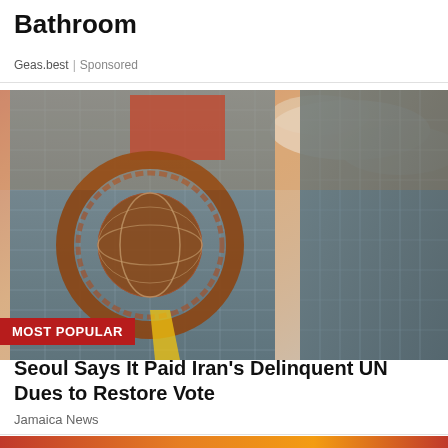Bathroom
Geas.best | Sponsored
[Figure (photo): Photo of the United Nations headquarters building with the UN emblem (wreath and world globe) projected or displayed on the glass facade, taken from a low angle showing a dramatic sky with warm sunset colors.]
MOST POPULAR
Seoul Says It Paid Iran's Delinquent UN Dues to Restore Vote
Jamaica News